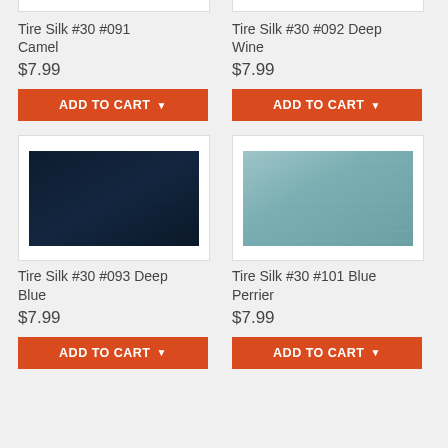[Figure (photo): Partial top of product card for Tire Silk #30 #091 Camel - cropped white card stub]
[Figure (photo): Partial top of product card for Tire Silk #30 #092 Deep Wine - cropped white card stub]
Tire Silk #30 #091 Camel
$7.99
ADD TO CART
Tire Silk #30 #092 Deep Wine
$7.99
ADD TO CART
[Figure (photo): Fabric swatch showing deep navy/dark blue textured fabric for Tire Silk #30 #093 Deep Blue]
[Figure (photo): Fabric swatch showing teal/blue-green textured fabric for Tire Silk #30 #101 Blue Perrier]
Tire Silk #30 #093 Deep Blue
$7.99
ADD TO CART
Tire Silk #30 #101 Blue Perrier
$7.99
ADD TO CART